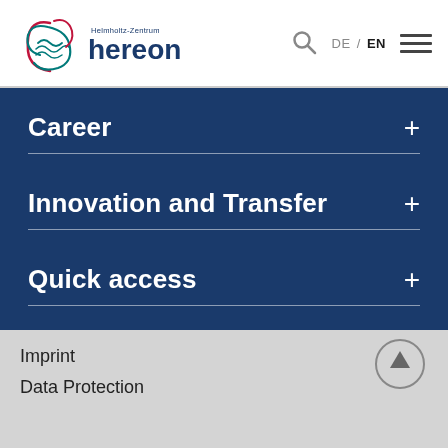[Figure (logo): Helmholtz-Zentrum Hereon logo with stylized graphic and text]
Career +
Innovation and Transfer +
Quick access +
Imprint
Data Protection